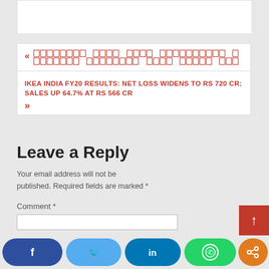[Previous post link - garbled Unicode text]
IKEA INDIA FY20 RESULTS: NET LOSS WIDENS TO RS 720 CR; SALES UP 64.7% AT RS 566 CR
Leave a Reply
Your email address will not be published. Required fields are marked *
Comment *
[Figure (other): Social share buttons: Facebook, Twitter, LinkedIn, WhatsApp, Share icons at bottom of page]